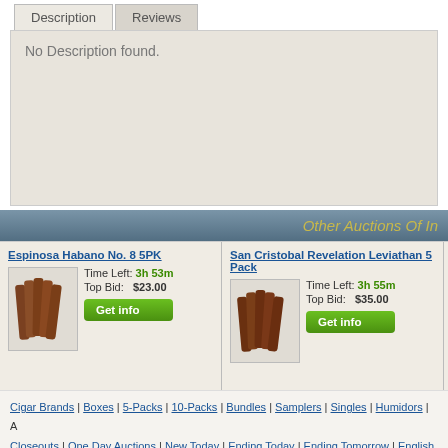Description | Reviews
No Description found.
Other Auctions Of In
Espinosa Habano No. 8 5PK
Time Left: 3h 53m
Top Bid: $23.00
Get info
San Cristobal Revelation Leviathan 5 Pack
Time Left: 3h 55m
Top Bid: $35.00
Get info
Fiat Lux
Cigar Brands | Boxes | 5-Packs | 10-Packs | Bundles | Samplers | Singles | Humidors | A Closeouts | One Day Auctions | New Today | Ending Today | Ending Tomorrow | English My Auctioneer | My Watch List | Shipping Rates | Help | Contact Us | Privacy Policy
Copyright © 2022. CigarAuctioneer.com All Rights Reserved.
cigars@cigarauctioneer.com | 1-800-656-1911